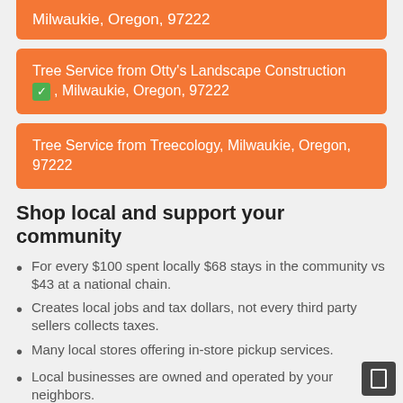Milwaukie, Oregon, 97222
Tree Service from Otty's Landscape Construction ✓, Milwaukie, Oregon, 97222
Tree Service from Treecology, Milwaukie, Oregon, 97222
Shop local and support your community
For every $100 spent locally $68 stays in the community vs $43 at a national chain.
Creates local jobs and tax dollars, not every third party sellers collects taxes.
Many local stores offering in-store pickup services.
Local businesses are owned and operated by your neighbors.
Growing number of cities are activiely supporting "buy local" inititives.